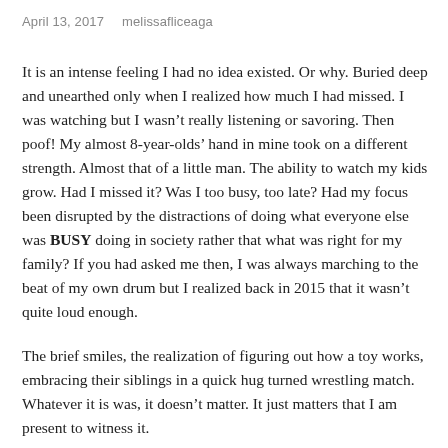April 13, 2017   melissafliceaga
It is an intense feeling I had no idea existed. Or why. Buried deep and unearthed only when I realized how much I had missed. I was watching but I wasn’t really listening or savoring. Then poof! My almost 8-year-olds’ hand in mine took on a different strength. Almost that of a little man. The ability to watch my kids grow. Had I missed it? Was I too busy, too late? Had my focus been disrupted by the distractions of doing what everyone else was BUSY doing in society rather that what was right for my family? If you had asked me then, I was always marching to the beat of my own drum but I realized back in 2015 that it wasn’t quite loud enough.
The brief smiles, the realization of figuring out how a toy works, embracing their siblings in a quick hug turned wrestling match. Whatever it is was, it doesn’t matter. It just matters that I am present to witness it.